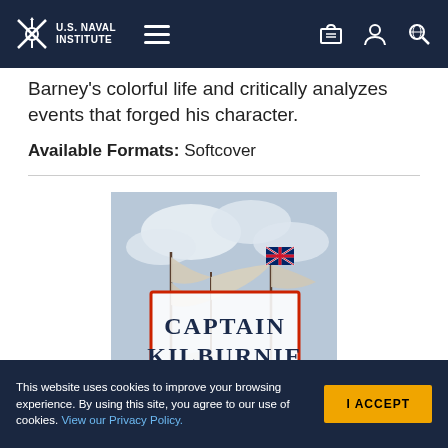U.S. Naval Institute
Barney's colorful life and critically analyzes events that forged his character.
Available Formats: Softcover
[Figure (photo): Book cover of 'Captain Kilburnie' showing a naval battle scene with ships and flags, title displayed in a red-bordered white rectangle]
This website uses cookies to improve your browsing experience. By using this site, you agree to our use of cookies. View our Privacy Policy.